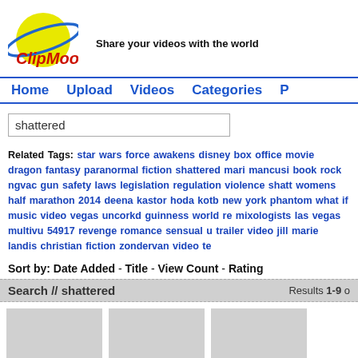[Figure (logo): ClipMoon logo with yellow circle/planet and blue orbit ring, red text 'ClipMoon']
Share your videos with the world
Home  Upload  Videos  Categories  P
shattered
Related Tags: star wars force awakens disney box office movie dragon fantasy paranormal fiction shattered mari mancusi book rock ngvac gun safety laws legislation regulation violence shatt womens half marathon 2014 deena kastor hoda kotb new york phantom what if music video vegas uncorkd guinness world re mixologists las vegas multivu 54917 revenge romance sensual u trailer video jill marie landis christian fiction zondervan video te
Sort by: Date Added - Title - View Count - Rating
Search // shattered   Results 1-9 o
[Figure (photo): Three gray placeholder video thumbnail boxes]
[Figure (photo): Gray placeholder video thumbnail]
[Figure (photo): Gray placeholder video thumbnail]